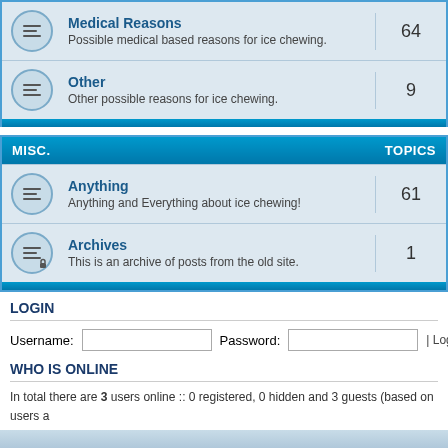| Forum | TOPICS |
| --- | --- |
| Medical Reasons — Possible medical based reasons for ice chewing. | 64 |
| Other — Other possible reasons for ice chewing. | 9 |
MISC.	TOPICS
| Forum | TOPICS |
| --- | --- |
| Anything — Anything and Everything about ice chewing! | 61 |
| Archives — This is an archive of posts from the old site. | 1 |
LOGIN
Username:  Password:  | Log me on autom
WHO IS ONLINE
In total there are 3 users online :: 0 registered, 0 hidden and 3 guests (based on users a
Most users ever online was 480 on Thu Jul 07, 2022 3:40 pm
Registered users: No registered users
Legend: Administrators, Global moderators
STATISTICS
Total posts 2127 • Total topics 557 • Total members 4292 • Our newest member doughn